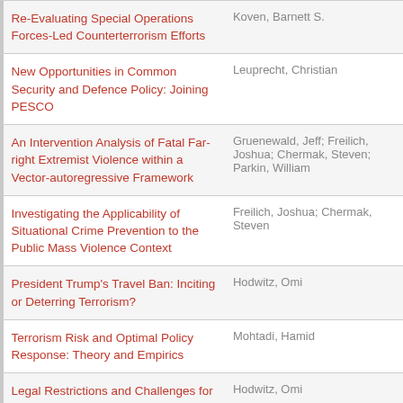| Title | Author(s) |
| --- | --- |
| Re-Evaluating Special Operations Forces-Led Counterterrorism Efforts | Koven, Barnett S. |
| New Opportunities in Common Security and Defence Policy: Joining PESCO | Leuprecht, Christian |
| An Intervention Analysis of Fatal Far-right Extremist Violence within a Vector-autoregressive Framework | Gruenewald, Jeff; Freilich, Joshua; Chermak, Steven; Parkin, William |
| Investigating the Applicability of Situational Crime Prevention to the Public Mass Violence Context | Freilich, Joshua; Chermak, Steven |
| President Trump's Travel Ban: Inciting or Deterring Terrorism? | Hodwitz, Omi |
| Terrorism Risk and Optimal Policy Response: Theory and Empirics | Mohtadi, Hamid |
| Legal Restrictions and Challenges for Police and Law Enforcement... | Hodwitz, Omi |